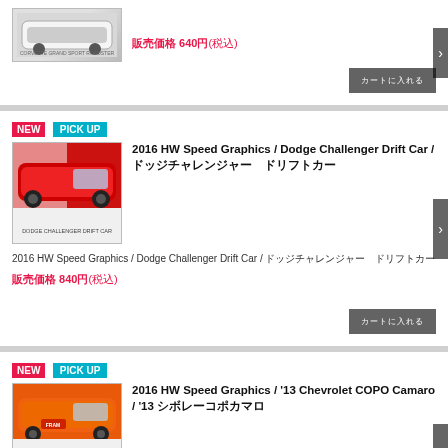[Figure (photo): Partial product card showing a white/grey die-cast toy car image at top]
販売価格 640円(税込)
カートに入れる
NEW  PICK UP
[Figure (photo): Red Dodge Challenger Drift Car die-cast toy on blister card packaging]
2016 HW Speed Graphics / Dodge Challenger Drift Car / ドッジチャレンジャー　ドリフトカー
2016 HW Speed Graphics / Dodge Challenger Drift Car / ドッジチャレンジャー　ドリフトカー
販売価格 840円(税込)
カートに入れる
NEW  PICK UP
[Figure (photo): Orange Chevrolet COPO Camaro die-cast toy on blister card packaging]
2016 HW Speed Graphics / '13 Chevrolet COPO Camaro / '13 シボレーコポカマロ
2016 HW Speed Graphics / '13 Chevrolet COPO Camaro / '13 シボレーコポカマロ
販売価格 640円(税込)
カートに入れる